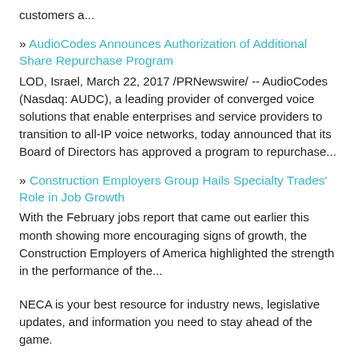customers a...
» AudioCodes Announces Authorization of Additional Share Repurchase Program
LOD, Israel, March 22, 2017 /PRNewswire/ -- AudioCodes (Nasdaq: AUDC), a leading provider of converged voice solutions that enable enterprises and service providers to transition to all-IP voice networks, today announced that its Board of Directors has approved a program to repurchase...
» Construction Employers Group Hails Specialty Trades' Role in Job Growth
With the February jobs report that came out earlier this month showing more encouraging signs of growth, the Construction Employers of America highlighted the strength in the performance of the...
NECA is your best resource for industry news, legislative updates, and information you need to stay ahead of the game.